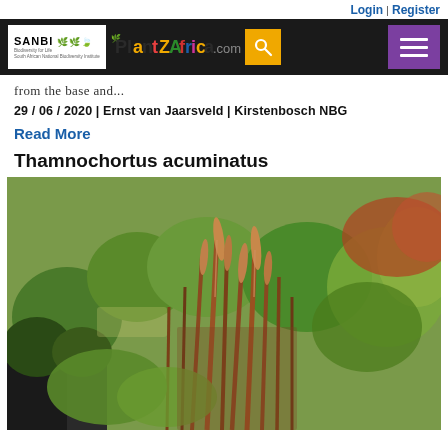Login | Register
[Figure (logo): SANBI PlantZAfrica.com website header with logo, search button, and hamburger menu]
from the base and...
29 / 06 / 2020 | Ernst van Jaarsveld | Kirstenbosch NBG
Read More
Thamnochortus acuminatus
[Figure (photo): Photograph of Thamnochortus acuminatus plant with reddish-brown reed-like stems growing in a garden setting with green foliage background]